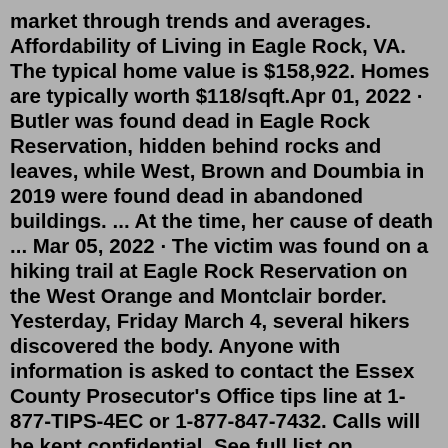market through trends and averages. Affordability of Living in Eagle Rock, VA. The typical home value is $158,922. Homes are typically worth $118/sqft.Apr 01, 2022 · Butler was found dead in Eagle Rock Reservation, hidden behind rocks and leaves, while West, Brown and Doumbia in 2019 were found dead in abandoned buildings. ... At the time, her cause of death ... Mar 05, 2022 · The victim was found on a hiking trail at Eagle Rock Reservation on the West Orange and Montclair border. Yesterday, Friday March 4, several hikers discovered the body. Anyone with information is asked to contact the Essex County Prosecutor's Office tips line at 1-877-TIPS-4EC or 1-877-847-7432. Calls will be kept confidential. See full list on northjersey.com Standort der Eagle Rock Reservation in Essex County. Das Reservat ist nach dem Eagle Rock benannt, einem kahlen Felsen, der vom Berg herabblickt und die Grenze zwischen den Städten Montclair und West Orange, New Jersey, markiert.© 2022 www.recordonline.com. All rights reserved.Dec 02, 2016 · Search ever stumbled upon